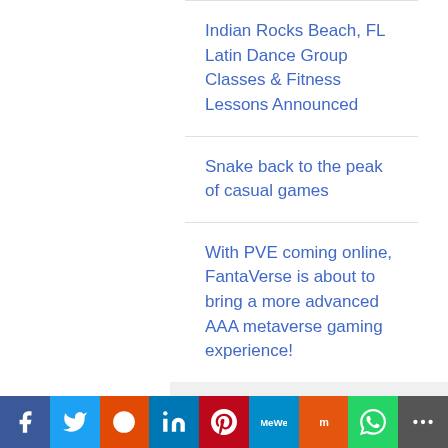Indian Rocks Beach, FL Latin Dance Group Classes & Fitness Lessons Announced
Snake back to the peak of casual games
With PVE coming online, FantaVerse is about to bring a more advanced AAA metaverse gaming experience!
CATEGORIES
Cloud PRWire
Environment
Nutrition